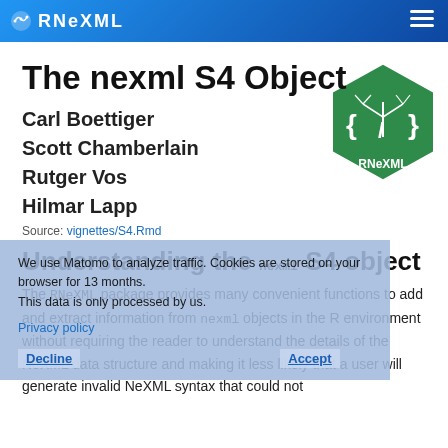RNeXML
The nexml S4 Object
Carl Boettiger
Scott Chamberlain
Rutger Vos
Hilmar Lapp
[Figure (logo): RNeXML hexagon logo in green with a phylogenetic tree and code brackets]
Source: vignettes/S4.Rmd
Understanding the nexml S4 object
We use Matomo to analyze traffic. Cookies are stored on your browser for 13 months. This data is only processed by us.
Privacy policy
The RNeXML package provides many convenient functions to add and extract information from nexml objects in the R environment without requiring the reader to understand the details of the NeXML data structure and making it less likely that a user will generate invalid NeXML syntax that could not